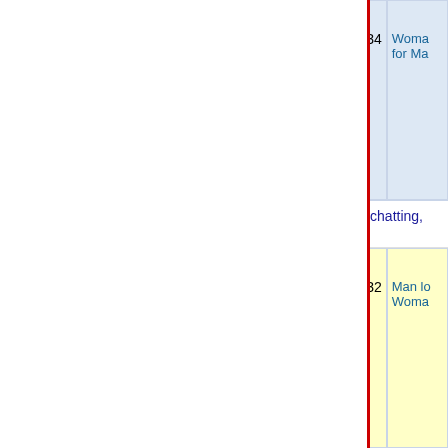|  | Last Active | Joined | Age | Looking |
| --- | --- | --- | --- | --- |
|  | more than 1 week ago | 2020-06-20 | 34 | Woman for Man |
I Am Dadul3 Yea Looking For Friends And Mo... chatting, collecting stamps coins, surfing the net
|  | Last Active | Joined | Age | Looking |
| --- | --- | --- | --- | --- |
|  | more than 1 week ago | 2012-06-16 | 32 | Man looking for Woman |
Life For Live Happy (reading, longdriveing, gym... songs, wattsup chatting, dating, swimming, crick...
|  | Last Active | Joined | Age | Looking |
| --- | --- | --- | --- | --- |
|  | more than 1 week ago | 2016-12-15 | 45 | Man looking for Woman |
Looking For Partner (chatting, talking, hanging...
|  | Last Active | Joined | Age | Looking |
| --- | --- | --- | --- | --- |
|  | more than 1 week ago | 2018-06- | 36 | Man lo... |